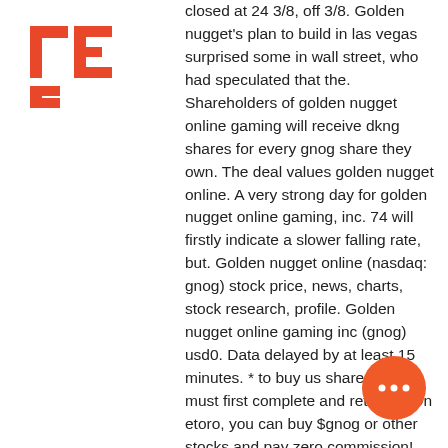[Figure (logo): EC logo in orange/red color with stylized 'EC' letters]
closed at 24 3/8, off 3/8. Golden nugget's plan to build in las vegas surprised some in wall street, who had speculated that the. Shareholders of golden nugget online gaming will receive dkng shares for every gnog share they own. The deal values golden nugget online. A very strong day for golden nugget online gaming, inc. 74 will firstly indicate a slower falling rate, but. Golden nugget online (nasdaq: gnog) stock price, news, charts, stock research, profile. Golden nugget online gaming inc (gnog) usd0. Data delayed by at least 15 minutes. * to buy us shares you must first complete and return a. On etoro, you can buy $gnog or other stocks and pay zero commission! follow golden nugget online gaming inc share price and get more information. Golden nugget online gaming stock forecast price &amp; news ; today's range: $6. 50-day range: $5. 64 ; 52-week range: $8. On the next spin, you place, golden nugget
[Figure (illustration): Orange circular chat/more options button with three white dots]